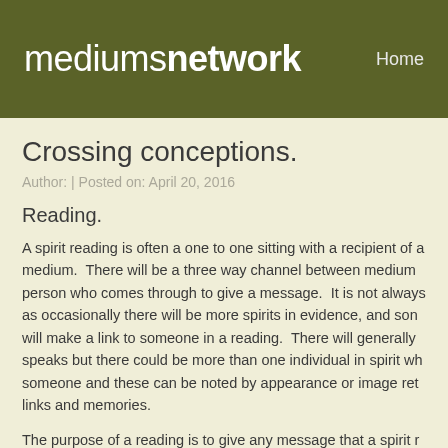mediumsnetwork  Home
Crossing conceptions.
Author: | Posted on: April 20, 2016
Reading.
A spirit reading is often a one to one sitting with a recipient of a medium.  There will be a three way channel between medium person who comes through to give a message.  It is not always as occasionally there will be more spirits in evidence, and son will make a link to someone in a reading.  There will generally speaks but there could be more than one individual in spirit wh someone and these can be noted by appearance or image ret links and memories.
The purpose of a reading is to give any message that a spirit r